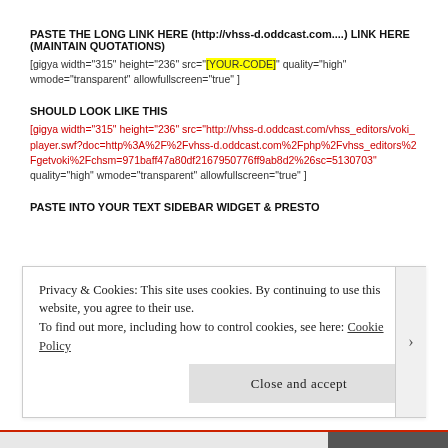PASTE THE LONG LINK HERE (http://vhss-d.oddcast.com....) LINK HERE (MAINTAIN QUOTATIONS)
[gigya width="315" height="236" src="[YOUR-CODE]" quality="high" wmode="transparent" allowfullscreen="true" ]
SHOULD LOOK LIKE THIS
[gigya width="315" height="236" src="http://vhss-d.oddcast.com/vhss_editors/voki_player.swf?doc=http%3A%2F%2Fvhss-d.oddcast.com%2Fphp%2Fvhss_editors%2Fgetvoki%2Fchsm=971baff47a80df2167950776ff9ab8d2%26sc=5130703" quality="high" wmode="transparent" allowfullscreen="true" ]
PASTE INTO YOUR TEXT SIDEBAR WIDGET & PRESTO
Privacy & Cookies: This site uses cookies. By continuing to use this website, you agree to their use. To find out more, including how to control cookies, see here: Cookie Policy
Close and accept